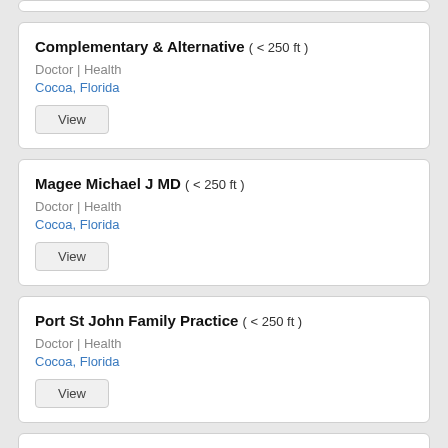Complementary & Alternative ( < 250 ft ) Doctor | Health Cocoa, Florida View
Magee Michael J MD ( < 250 ft ) Doctor | Health Cocoa, Florida View
Port St John Family Practice ( < 250 ft ) Doctor | Health Cocoa, Florida View
Port St John MedFast Urgent Care | Walk In Clinic | Emergency Qu ( < 250 ft ) Doctor | Hospital | Health